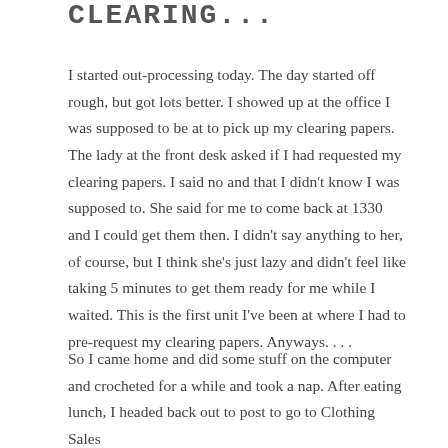CLEARING...
I started out-processing today. The day started off rough, but got lots better. I showed up at the office I was supposed to be at to pick up my clearing papers. The lady at the front desk asked if I had requested my clearing papers. I said no and that I didn't know I was supposed to. She said for me to come back at 1330 and I could get them then. I didn't say anything to her, of course, but I think she's just lazy and didn't feel like taking 5 minutes to get them ready for me while I waited. This is the first unit I've been at where I had to pre-request my clearing papers. Anyways. . . .
So I came home and did some stuff on the computer and crocheted for a while and took a nap. After eating lunch, I headed back out to post to go to Clothing Sales